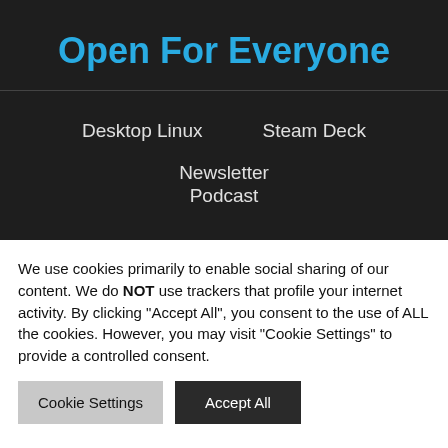Open For Everyone
Desktop Linux   Steam Deck   Newsletter   Podcast
Tag: William Crowther
WELCOME TO ADVENTURE:
We use cookies primarily to enable social sharing of our content. We do NOT use trackers that profile your internet activity. By clicking "Accept All", you consent to the use of ALL the cookies. However, you may visit "Cookie Settings" to provide a controlled consent.
Cookie Settings   Accept All